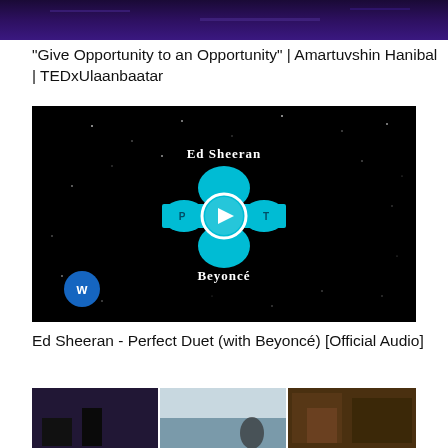[Figure (screenshot): Top portion of a video thumbnail with dark purple/violet background]
"Give Opportunity to an Opportunity" | Amartuvshin Hanibal | TEDxUlaanbaatar
[Figure (screenshot): Ed Sheeran - Perfect Duet (with Beyoncé) album art / video thumbnail. Black background with cyan blue cross/plus shape made of rounded rectangles, white circle play button in center. Text 'Ed Sheeran' at top, 'Beyoncé' at bottom in white serif font. Warner Records logo (blue circle with W) in bottom left.]
Ed Sheeran - Perfect Duet (with Beyoncé) [Official Audio]
[Figure (screenshot): Bottom portion showing three video thumbnails side by side — left is dark/nighttime scene, middle is outdoor daylight scene, right is a warm brown/sepia architectural scene]